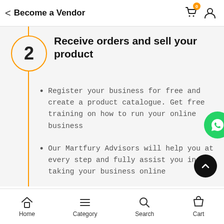Become a Vendor
Receive orders and sell your product
Register your business for free and create a product catalogue. Get free training on how to run your online business
Our Martfury Advisors will help you at every step and fully assist you in taking your business online
Home  Category  Search  Cart